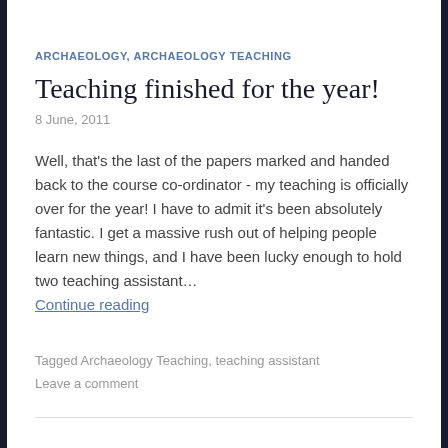ARCHAEOLOGY, ARCHAEOLOGY TEACHING
Teaching finished for the year!
8 June, 2011
Well, that's the last of the papers marked and handed back to the course co-ordinator - my teaching is officially over for the year! I have to admit it's been absolutely fantastic. I get a massive rush out of helping people learn new things, and I have been lucky enough to hold two teaching assistant…
Continue reading
Tagged Archaeology Teaching, teaching assistant
Leave a comment